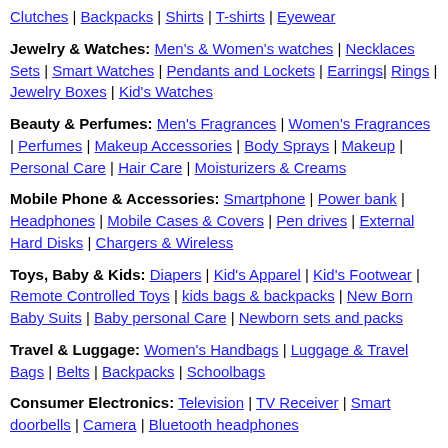Clutches | Backpacks | Shirts | T-shirts | Eyewear
Jewelry & Watches: Men's & Women's watches | Necklaces Sets | Smart Watches | Pendants and Lockets | Earrings| Rings | Jewelry Boxes | Kid's Watches
Beauty & Perfumes: Men's Fragrances | Women's Fragrances | Perfumes | Makeup Accessories | Body Sprays | Makeup | Personal Care | Hair Care | Moisturizers & Creams
Mobile Phone & Accessories: Smartphone | Power bank | Headphones | Mobile Cases & Covers | Pen drives | External Hard Disks | Chargers & Wireless
Toys, Baby & Kids: Diapers | Kid's Apparel | Kid's Footwear | Remote Controlled Toys | kids bags & backpacks | New Born Baby Suits | Baby personal Care | Newborn sets and packs
Travel & Luggage: Women's Handbags | Luggage & Travel Bags | Belts | Backpacks | Schoolbags
Consumer Electronics: Television | TV Receiver | Smart doorbells | Camera | Bluetooth headphones